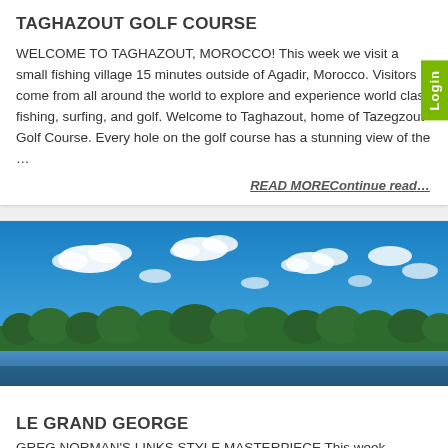TAGHAZOUT GOLF COURSE
WELCOME TO TAGHAZOUT, MOROCCO! This week we visit a small fishing village 15 minutes outside of Agadir, Morocco. Visitors come from all around the world to explore and experience world class fishing, surfing, and golf. Welcome to Taghazout, home of Tazegzout Golf Course. Every hole on the golf course has a stunning view of the …
READ MOREContinue read…
[Figure (photo): Panoramic outdoor photo of a golf course landscape with blue sky, white clouds, and green trees along the horizon, with a water hazard in the foreground.]
LE GRAND GEORGE
GREG NORMAN'S LINKS STYLE MASTERPIECE This week, TruGolf is